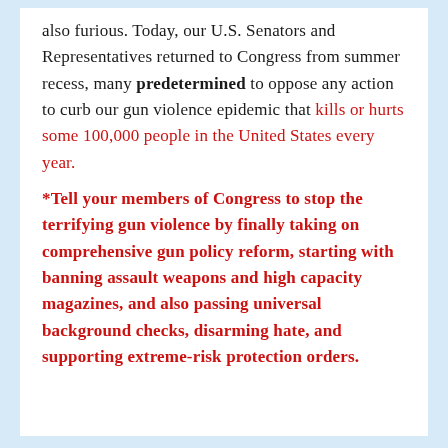also furious. Today, our U.S. Senators and Representatives returned to Congress from summer recess, many predetermined to oppose any action to curb our gun violence epidemic that kills or hurts some 100,000 people in the United States every year.
*Tell your members of Congress to stop the terrifying gun violence by finally taking on comprehensive gun policy reform, starting with banning assault weapons and high capacity magazines, and also passing universal background checks, disarming hate, and supporting extreme-risk protection orders.